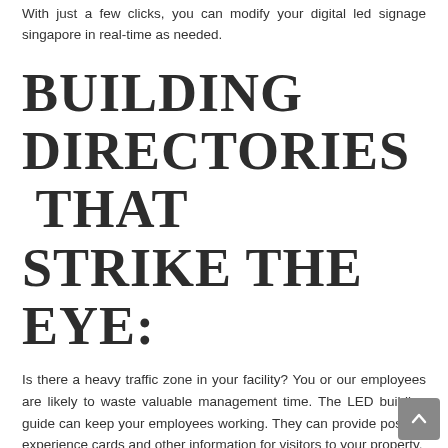With just a few clicks, you can modify your digital led signage singapore in real-time as needed.
BUILDING DIRECTORIES THAT STRIKE THE EYE:
Is there a heavy traffic zone in your facility? You or our employees are likely to waste valuable management time. The LED building guide can keep your employees working. They can provide positive experience cards and other information for visitors to your property.
SHARE YOUR